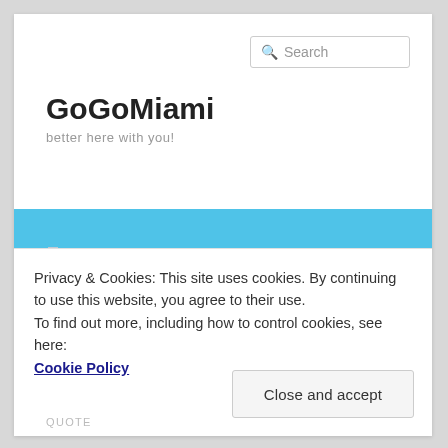Search
GoGoMiami
better here with you!
[Figure (photo): Aerial view of Miami Beach coastline with turquoise ocean water, white sandy beach, palm trees, and city skyline with tall buildings in the background under a blue sky.]
Privacy & Cookies: This site uses cookies. By continuing to use this website, you agree to their use.
To find out more, including how to control cookies, see here:
Cookie Policy
Close and accept
QUOTE